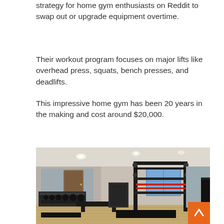strategy for home gym enthusiasts on Reddit to swap out or upgrade equipment overtime.
Their workout program focuses on major lifts like overhead press, squats, bench presses, and deadlifts.
This impressive home gym has been 20 years in the making and cost around $20,000.
[Figure (photo): Interior photo of a well-equipped home gym featuring a large power rack with red bands, multiple dumbbell racks, a flat bench, mirrors on the wall, wood flooring, recessed ceiling lights, and windows with blue sky visible. An orange scroll-to-top button is visible in the bottom right corner.]